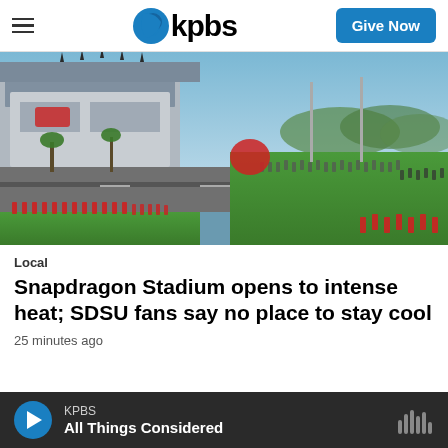KPBS — Give Now
[Figure (photo): Aerial/elevated view of Snapdragon Stadium exterior with cheerleaders lined up along road and crowds of fans gathered nearby, green field visible, blue sky]
Local
Snapdragon Stadium opens to intense heat; SDSU fans say no place to stay cool
25 minutes ago
KPBS — All Things Considered